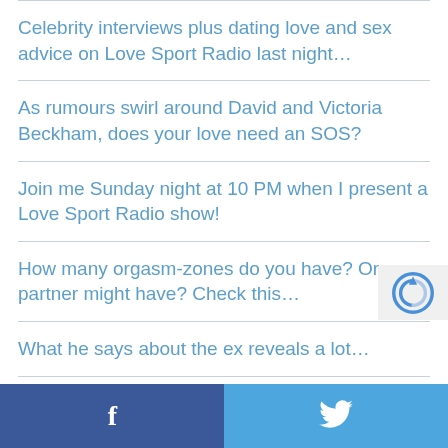Celebrity interviews plus dating love and sex advice on Love Sport Radio last night…
As rumours swirl around David and Victoria Beckham, does your love need an SOS?
Join me Sunday night at 10 PM when I present a Love Sport Radio show!
How many orgasm-zones do you have? Or your partner might have? Check this…
What he says about the ex reveals a lot…
The hard facts: what you need to know
Facebook | Twitter